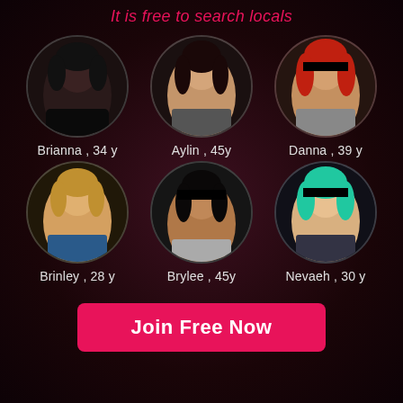It is free to search locals
[Figure (photo): Grid of 6 circular profile photos of women with names and ages: Brianna 34y, Aylin 45y, Danna 39y, Brinley 28y, Brylee 45y, Nevaeh 30y]
Brianna , 34 y
Aylin , 45y
Danna , 39 y
Brinley , 28 y
Brylee , 45y
Nevaeh , 30 y
Join Free Now